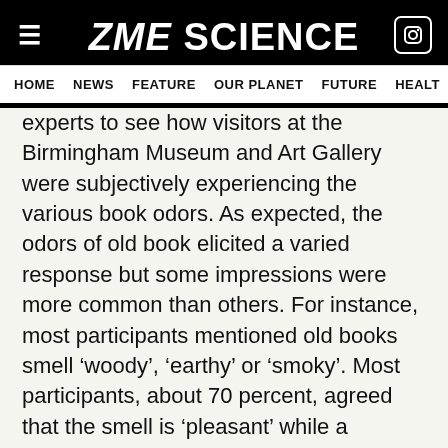ZME SCIENCE — HOME | NEWS | FEATURE | OUR PLANET | FUTURE | HEALT
experts to see how visitors at the Birmingham Museum and Art Gallery were subjectively experiencing the various book odors. As expected, the odors of old book elicited a varied response but some impressions were more common than others. For instance, most participants mentioned old books smell 'woody', 'earthy' or 'smoky'. Most participants, about 70 percent, agreed that the smell is 'pleasant' while a minority thought it was 'pungent'.
It was surprising to learn that the most common descriptor of old book smell was (chocolate?) white association. W o the